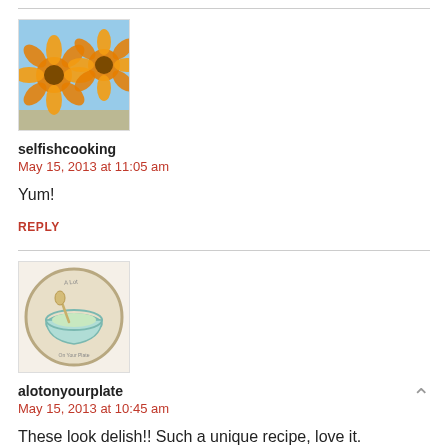[Figure (photo): Photo of orange flowers (marigolds or similar), used as user avatar for selfishcooking]
selfishcooking
May 15, 2013 at 11:05 am
Yum!
REPLY
[Figure (logo): Circular logo with illustrated bowl and text 'A Lot On Your Plate', used as user avatar for alotonyourplate]
alotonyourplate
May 15, 2013 at 10:45 am
These look delish!! Such a unique recipe, love it.
REPLY